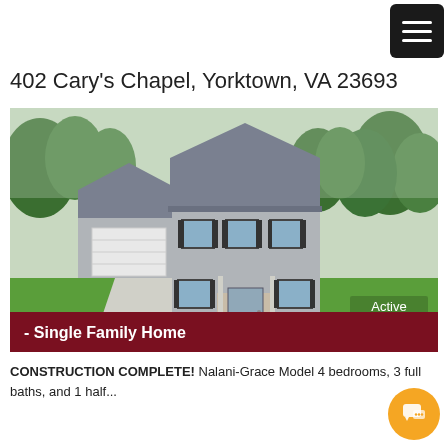402 Cary's Chapel, Yorktown, VA 23693
[Figure (photo): Two-story single family home with attached garage, gray siding, front porch, green lawn, and trees in background. Active status badge visible.]
- Single Family Home
CONSTRUCTION COMPLETE! Nalani-Grace Model 4 bedrooms, 3 full baths, and 1 half...